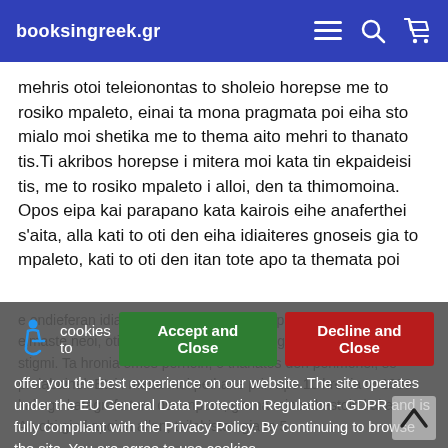booksingreek.gr
mehris otoi teleionontas to sholeio horepse me to rosiko mpaleto, einai ta mona pragmata poi eiha sto mialo moi shetika me to thema aito mehri to thanato tis.Ti akribos horepse i mitera moi kata tin ekpaideisi tis, me to rosiko mpaleto i alloi, den ta thimomoina. Opos eipa kai parapano kata kairois eihe anaferthei s'aita, alla kati to oti den eiha idiaiteres gnoseis gia to mpaleto, kati to oti den itan tote apo ta themata poi
e endieferan idiaitera, xehastikan. Exalloi panta... bime tin aisth... eimaste neoi, oti ehoime kairo, tha ta katagrapsoime kapoia alli stigmi. Ta hronia omos pernoin, o thanatos den perimenei, se prolabainel. Etsi i mana moi pethane prin apo 10 hronia to 1999 kai ego katagrafo tora osa mporo, gia na min xehastoin kai aita. An ohi gia kapoion allon, toilahiston gia ta 5
cookies to offer you the best experience on our website. The site operates under the EU General Data Protection Regulation - GDPR and is fully compliant with the Privacy Policy. By continuing to browse the site, You are agree to use cookies. For obtain more informations please Click here